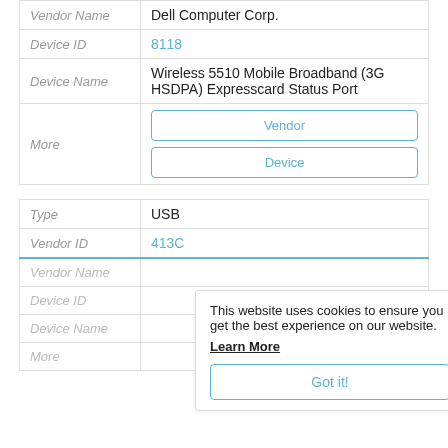| Field | Value |
| --- | --- |
| Vendor Name | Dell Computer Corp. |
| Device ID | 8118 |
| Device Name | Wireless 5510 Mobile Broadband (3G HSDPA) Expresscard Status Port |
| More | Vendor | Device |
| Field | Value |
| --- | --- |
| Type | USB |
| Vendor ID | 413C |
| Vendor Name |  |
| Device ID |  |
| Device Name |  |
| More |  |
This website uses cookies to ensure you get the best experience on our website. Learn More Got it!